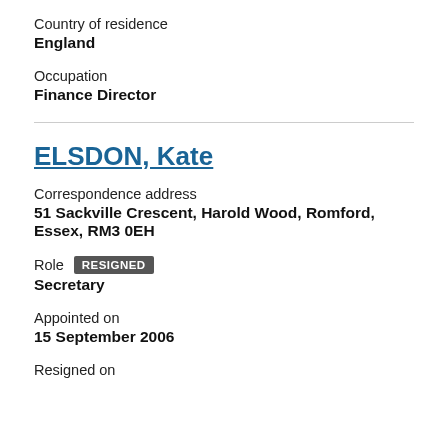Country of residence
England
Occupation
Finance Director
ELSDON, Kate
Correspondence address
51 Sackville Crescent, Harold Wood, Romford, Essex, RM3 0EH
Role  RESIGNED
Secretary
Appointed on
15 September 2006
Resigned on